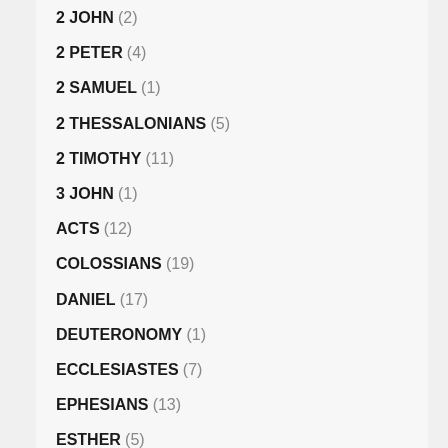2 JOHN (2)
2 PETER (4)
2 SAMUEL (1)
2 THESSALONIANS (5)
2 TIMOTHY (11)
3 JOHN (1)
ACTS (12)
COLOSSIANS (19)
DANIEL (17)
DEUTERONOMY (1)
ECCLESIASTES (7)
EPHESIANS (13)
ESTHER (5)
EXODUS (23)
EZEKIEL (14)